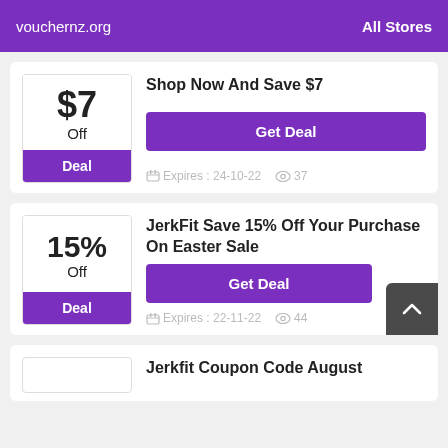vouchernz.org    All Stores
$7 Off — Deal — Shop Now And Save $7 — Get Deal — Expires: 24-10-22 — 37 views
15% Off — Deal — JerkFit Save 15% Off Your Purchase On Easter Sale — Get Deal — Expires: 22-11-22 — 44 views
Jerkfit Coupon Code August